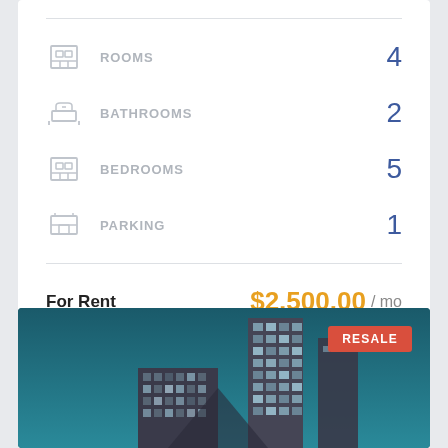ROOMS 4
BATHROOMS 2
BEDROOMS 5
PARKING 1
For Rent  $2,500.00 / mo
[Figure (photo): Tall modern glass skyscraper building against a teal/blue sky, with a red RESALE badge in the top-right corner]